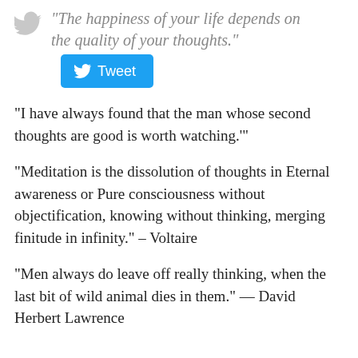“The happiness of your life depends on the quality of your thoughts.”
[Figure (other): Twitter bird icon and Tweet button with Twitter logo]
“I have always found that the man whose second thoughts are good is worth watching.’”
“Meditation is the dissolution of thoughts in Eternal awareness or Pure consciousness without objectification, knowing without thinking, merging finitude in infinity.” – Voltaire
“Men always do leave off really thinking, when the last bit of wild animal dies in them.” — David Herbert Lawrence